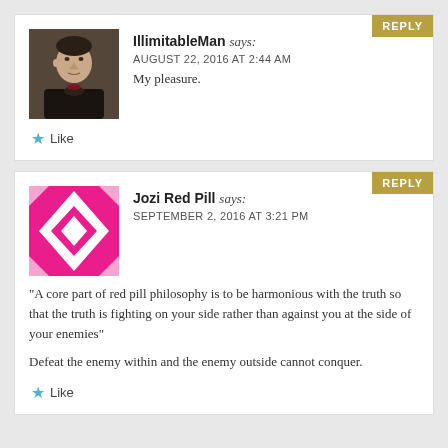[Figure (photo): Avatar portrait of a man in dark clothing, appears to be a Renaissance-style painting.]
IllimitableMan says: AUGUST 22, 2016 AT 2:44 AM
My pleasure.
Like
[Figure (illustration): Pink and white geometric quilt pattern avatar for Jozi Red Pill.]
Jozi Red Pill says: SEPTEMBER 2, 2016 AT 3:21 PM
"A core part of red pill philosophy is to be harmonious with the truth so that the truth is fighting on your side rather than against you at the side of your enemies"

Defeat the enemy within and the enemy outside cannot conquer.
Like